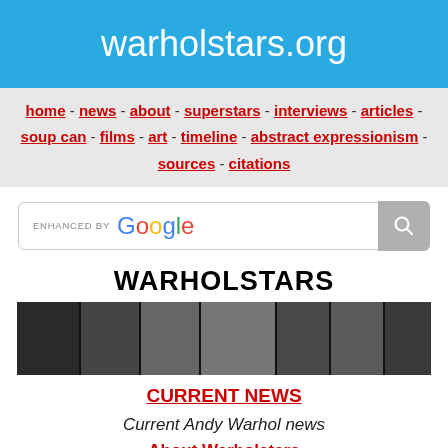warholstars.org
home - news - about - superstars - interviews - articles - soup can - films - art - timeline - abstract expressionism - sources - citations
[Figure (screenshot): Google search box with 'ENHANCED BY Google' label and search button]
WARHOLSTARS
[Figure (photo): Horizontal banner strip of black and white photos of people and a building]
CURRENT NEWS
Current Andy Warhol news
About Warholstars